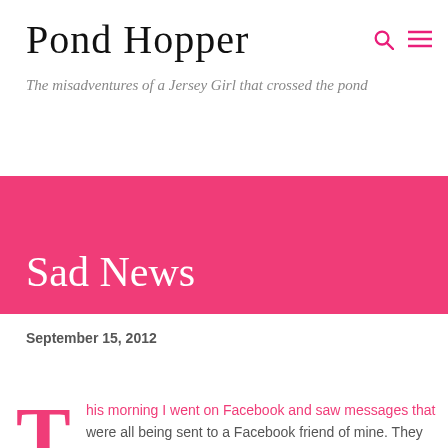Pond Hopper
The misadventures of a Jersey Girl that crossed the pond
Sad News
September 15, 2012
This morning I went on Facebook and saw messages that were all being sent to a Facebook friend of mine. They